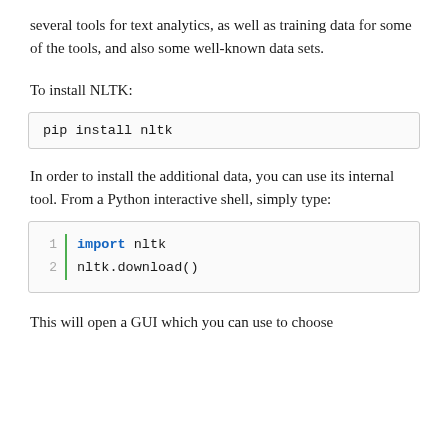several tools for text analytics, as well as training data for some of the tools, and also some well-known data sets.
To install NLTK:
pip install nltk
In order to install the additional data, you can use its internal tool. From a Python interactive shell, simply type:
import nltk
nltk.download()
This will open a GUI which you can use to choose